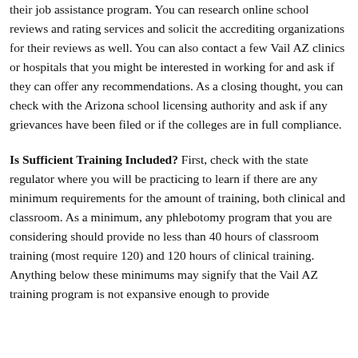their job assistance program. You can research online school reviews and rating services and solicit the accrediting organizations for their reviews as well. You can also contact a few Vail AZ clinics or hospitals that you might be interested in working for and ask if they can offer any recommendations. As a closing thought, you can check with the Arizona school licensing authority and ask if any grievances have been filed or if the colleges are in full compliance.
Is Sufficient Training Included? First, check with the state regulator where you will be practicing to learn if there are any minimum requirements for the amount of training, both clinical and classroom. As a minimum, any phlebotomy program that you are considering should provide no less than 40 hours of classroom training (most require 120) and 120 hours of clinical training. Anything below these minimums may signify that the Vail AZ training program is not expansive enough to provide